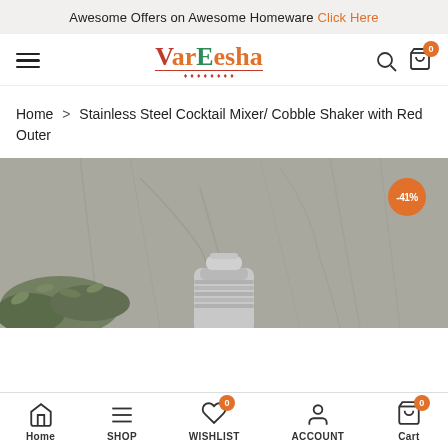Awesome Offers on Awesome Homeware Click Here
[Figure (logo): VarEesha brand logo with stylized text and decorative underline]
Home > Stainless Steel Cocktail Mixer/ Cobble Shaker with Red Outer
[Figure (photo): Stainless steel cocktail shaker product photo on grey textured background with green herbs, showing -41% discount badge]
Home  SHOP  WISHLIST  ACCOUNT  Cart